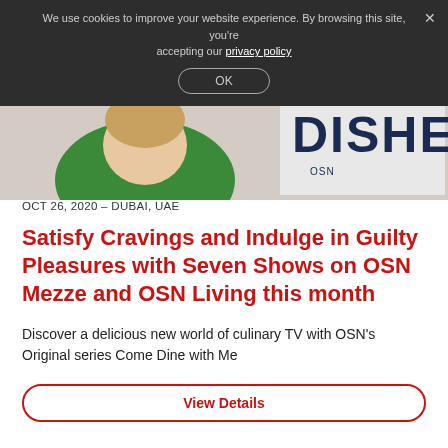We use cookies to improve your website experience. By browsing this site, you're accepting our privacy policy
OK
[Figure (photo): Woman in green top standing in front of a sign reading DISHES]
OCT 26, 2020 – DUBAI, UAE
Satisfy Cravings and Indulge in Guilty Pleasures with Seven Shows on OSN Mezze and OSN Living this month
Discover a delicious new world of culinary TV with OSN's Original series Come Dine with Me
View Details